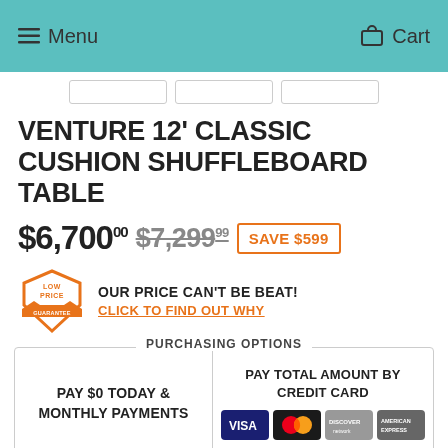Menu   Cart
VENTURE 12' CLASSIC CUSHION SHUFFLEBOARD TABLE
$6,700.00  $7,299.99  SAVE $599
OUR PRICE CAN'T BE BEAT!
CLICK TO FIND OUT WHY
PURCHASING OPTIONS
PAY $0 TODAY & MONTHLY PAYMENTS
PAY TOTAL AMOUNT BY CREDIT CARD